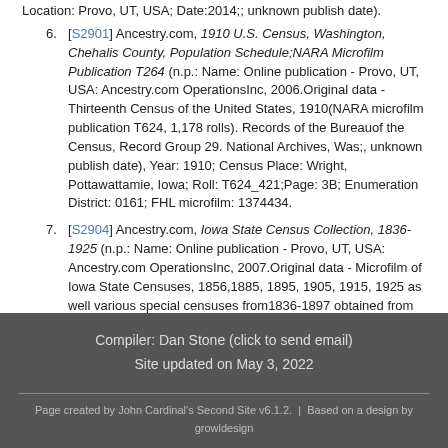Location: Provo, UT, USA; Date:2014;; unknown publish date).
[S2901] Ancestry.com, 1910 U.S. Census, Washington, Chehalis County, Population Schedule;NARA Microfilm Publication T264 (n.p.: Name: Online publication - Provo, UT, USA: Ancestry.com OperationsInc, 2006.Original data - Thirteenth Census of the United States, 1910(NARA microfilm publication T624, 1,178 rolls). Records of the Bureauof the Census, Record Group 29. National Archives, Was;, unknown publish date), Year: 1910; Census Place: Wright, Pottawattamie, Iowa; Roll: T624_421;Page: 3B; Enumeration District: 0161; FHL microfilm: 1374434.
[S2904] Ancestry.com, Iowa State Census Collection, 1836-1925 (n.p.: Name: Online publication - Provo, UT, USA: Ancestry.com OperationsInc, 2007.Original data - Microfilm of Iowa State Censuses, 1856,1885, 1895, 1905, 1915, 1925 as well various special censuses from1836-1897 obtained from the State Historical Society of Iowa v;, unknown publish date).
Compiler: Dan Stone (click to send email)
Site updated on May 3, 2022
Page created by John Cardinal's Second Site v6.1.2.  |  Based on a design by growldesign